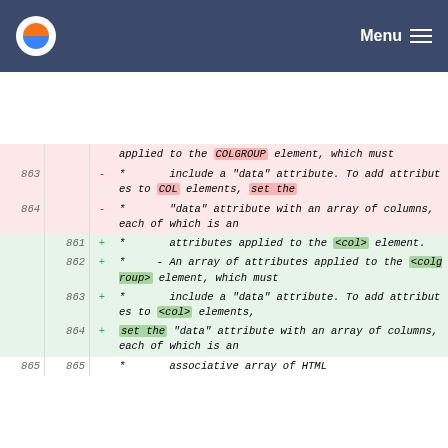Menu
| old | new | +/- | code |
| --- | --- | --- | --- |
|  |  |  | applied to the COLGROUP element, which must |
| 863 |  | - | * include a "data" attribute. To add attributes to COL elements, set the |
| 864 |  | - | * "data" attribute with an array of columns, each of which is an |
|  | 861 | + | * attributes applied to the <col> element. |
|  | 862 | + | * - An array of attributes applied to the <colgroup> element, which must |
|  | 863 | + | * include a "data" attribute. To add attributes to <col> elements, |
|  | 864 | + | * set the "data" attribute with an array of columns, each of which is an |
| 865 | 865 |  | * associative array of HTML |